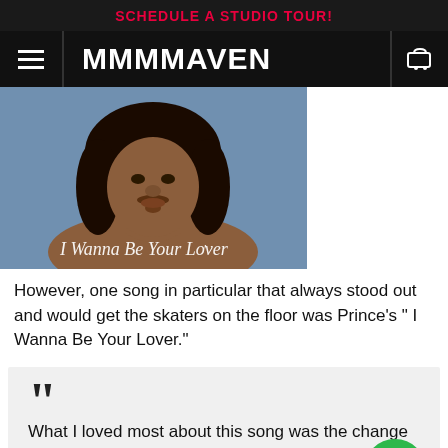SCHEDULE A STUDIO TOUR!
MMMMAVEN
[Figure (photo): Shirtless person with curly hair against a blue background; text overlay reads 'I Wanna Be Your Lover' in cursive script]
However, one song in particular that always stood out and would get the skaters on the floor was Prince's " I Wanna Be Your Lover."
““ What I loved most about this song was the change up that happens about